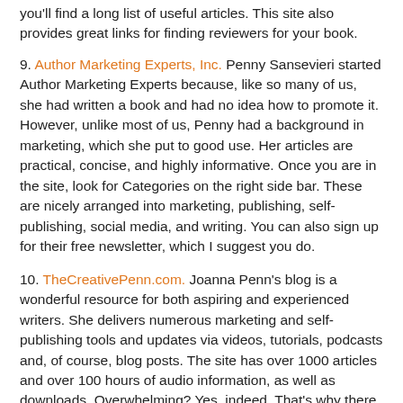you'll find a long list of useful articles. This site also provides great links for finding reviewers for your book.
9. Author Marketing Experts, Inc. Penny Sansevieri started Author Marketing Experts because, like so many of us, she had written a book and had no idea how to promote it. However, unlike most of us, Penny had a background in marketing, which she put to good use. Her articles are practical, concise, and highly informative. Once you are in the site, look for Categories on the right side bar. These are nicely arranged into marketing, publishing, self-publishing, social media, and writing. You can also sign up for their free newsletter, which I suggest you do.
10. TheCreativePenn.com. Joanna Penn's blog is a wonderful resource for both aspiring and experienced writers. She delivers numerous marketing and self-publishing tools and updates via videos, tutorials, podcasts and, of course, blog posts. The site has over 1000 articles and over 100 hours of audio information, as well as downloads. Overwhelming? Yes, indeed. That's why there is a "Start Here" tab. Start there.